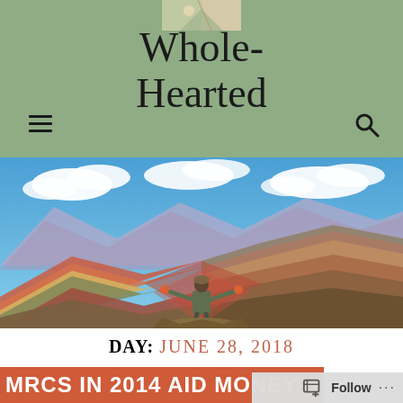[Figure (logo): Small logo image at the top center of the green header]
Whole-Hearted
[Figure (photo): Hero photograph of a person with arms outstretched standing on colorful striped Rainbow Mountain (Vinicunca) in Peru, with blue sky and clouds behind multi-colored Andean peaks]
DAY: JUNE 28, 2018
MRCs IN 2014 AID MONEY
Follow ...